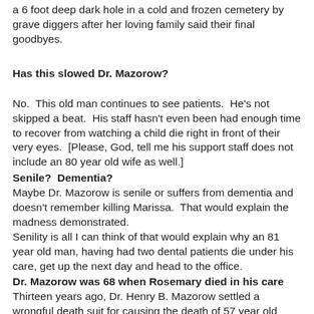a 6 foot deep dark hole in a cold and frozen cemetery by grave diggers after her loving family said their final goodbyes.
Has this slowed Dr. Mazorow?
No.  This old man continues to see patients.  He's not skipped a beat.  His staff hasn't even been had enough time to recover from watching a child die right in front of their very eyes.  [Please, God, tell me his support staff does not include an 80 year old wife as well.]
Senile?  Dementia?
Maybe Dr. Mazorow is senile or suffers from dementia and doesn't remember killing Marissa.  That would explain the madness demonstrated.
Senility is all I can think of that would explain why an 81 year old man, having had two dental patients die under his care, get up the next day and head to the office.
Dr. Mazorow was 68 when Rosemary died in his care
Thirteen years ago, Dr. Henry B. Mazorow settled a wrongful death suit for causing the death of 57 year old Rosemary T